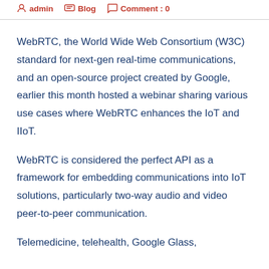admin  Blog  Comment : 0
WebRTC, the World Wide Web Consortium (W3C) standard for next-gen real-time communications, and an open-source project created by Google, earlier this month hosted a webinar sharing various use cases where WebRTC enhances the IoT and IIoT.
WebRTC is considered the perfect API as a framework for embedding communications into IoT solutions, particularly two-way audio and video peer-to-peer communication.
Telemedicine, telehealth, Google Glass,